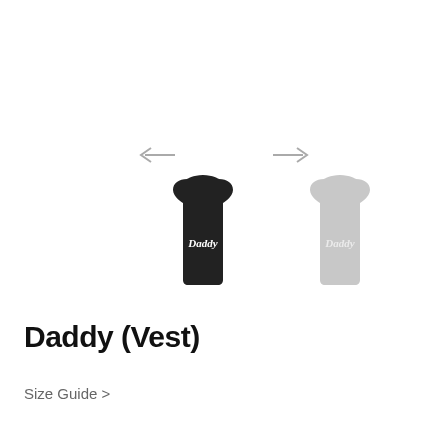[Figure (illustration): Two tank top vests with 'Daddy' script text. Left vest is black, right vest is light grey. Navigation arrows (left arrow and right arrow) appear above the vests.]
Daddy (Vest)
Size Guide >